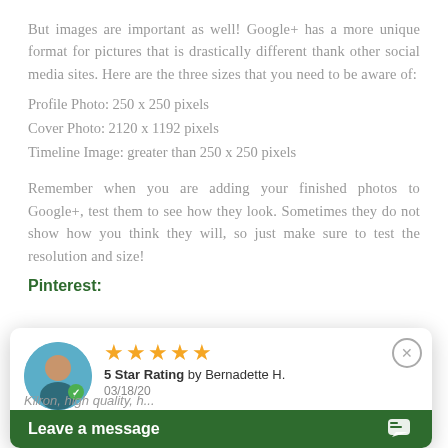But images are important as well!  Google+ has a more unique format for pictures that is drastically different thank other social media sites.  Here are the three sizes that you need to be aware of:
Profile Photo: 250 x 250 pixels
Cover Photo: 2120 x 1192 pixels
Timeline Image: greater than 250 x 250 pixels
Remember when you are adding your finished photos to Google+, test them to see how they look.  Sometimes they do not show how you think they will, so just make sure to test the resolution and size!
Pinterest:
[Figure (screenshot): A review popup overlay showing 5 gold stars, '5 Star Rating by Bernadette H.' dated 03/18/20, a user avatar, a close button, and a green 'Leave a message' chat bar at the bottom.]